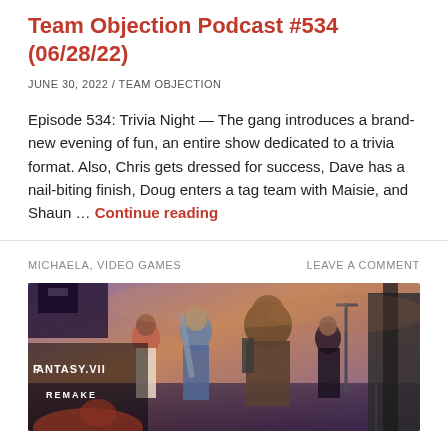Team Objection Podcast #534 (06/28/22)
JUNE 30, 2022 / TEAM OBJECTION
Episode 534: Trivia Night — The gang introduces a brand-new evening of fun, an entire show dedicated to a trivia format. Also, Chris gets dressed for success, Dave has a nail-biting finish, Doug enters a tag team with Maisie, and Shaun … Continue reading
MICHAELA, VIDEO GAMES
LEAVE A COMMENT
[Figure (photo): Final Fantasy VII Remake promotional art showing characters including Aerith, Cloud, Barret, and Tifa against a purple/orange sky backdrop, with the Final Fantasy VII Remake logo visible on the left side.]